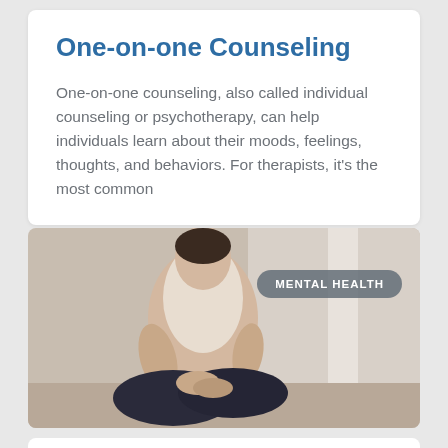One-on-one Counseling
One-on-one counseling, also called individual counseling or psychotherapy, can help individuals learn about their moods, feelings, thoughts, and behaviors. For therapists, it's the most common
[Figure (photo): A person sitting cross-legged in a meditation pose, hands resting on knees, with a 'MENTAL HEALTH' badge overlay in the upper right corner of the image.]